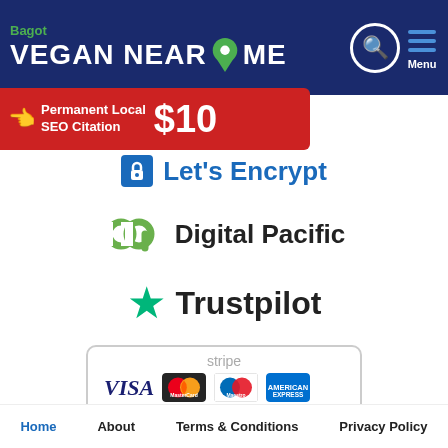[Figure (screenshot): Website header for Bagot Vegan Near Me with navigation icons (search and menu), a red banner advertising Permanent Local SEO Citation for $10, followed by logos for Let's Encrypt, Digital Pacific, Trustpilot, and Stripe payment methods (VISA, MasterCard, Maestro, American Express), and a footer navigation bar with Home, About, Terms & Conditions, Privacy Policy links.]
Home   About   Terms & Conditions   Privacy Policy